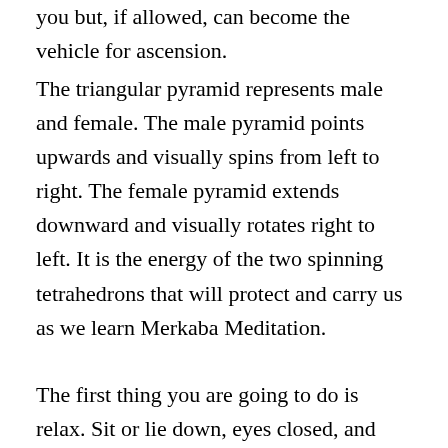you but, if allowed, can become the vehicle for ascension.
The triangular pyramid represents male and female. The male pyramid points upwards and visually spins from left to right. The female pyramid extends downward and visually rotates right to left. It is the energy of the two spinning tetrahedrons that will protect and carry us as we learn Merkaba Meditation.
The first thing you are going to do is relax. Sit or lie down, eyes closed, and settle your